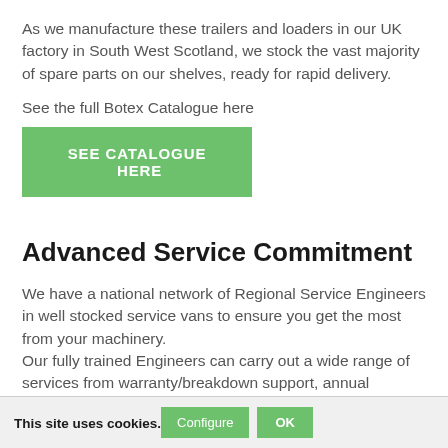As we manufacture these trailers and loaders in our UK factory in South West Scotland, we stock the vast majority of spare parts on our shelves, ready for rapid delivery.
See the full Botex Catalogue here
SEE CATALOGUE  HERE
Advanced Service Commitment
We have a national network of Regional Service Engineers in well stocked service vans to ensure you get the most from your machinery.
Our fully trained Engineers can carry out a wide range of services from warranty/breakdown support, annual servicing, training and testing to suit your needs.
This site uses cookies.